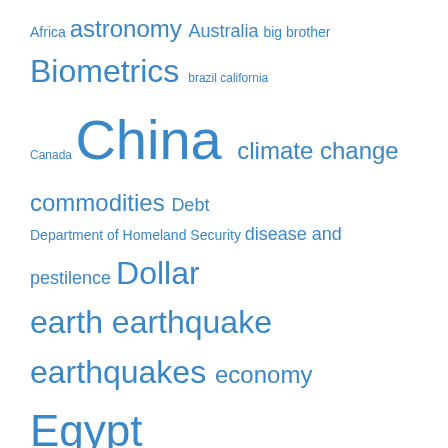[Figure (infographic): Tag cloud / word cloud with various terms at different font sizes, all in blue color. Topics include geopolitics, natural disasters, economics, science, and more.]